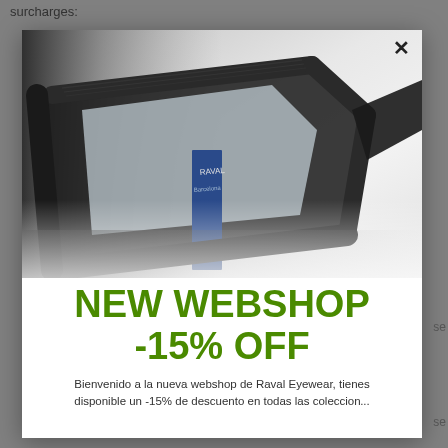surcharges:
[Figure (photo): Close-up photo of a dark textured eyeglasses frame resting on a book with a blue spine labeled RAVAL Barcelona, on a light marble surface. The modal popup has an X close button in the top right corner.]
NEW WEBSHOP -15% OFF
Bienvenido a la nueva webshop de Raval Eyewear, tienes disponible un -15% de descuento en todas las coleccio...